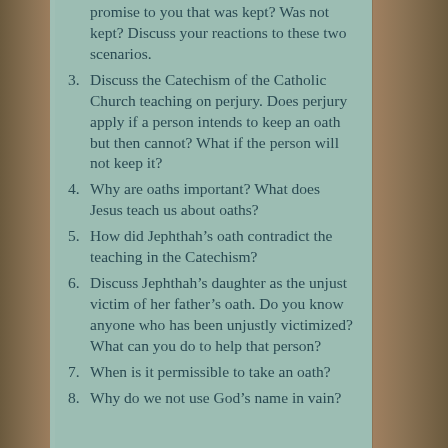promise to you that was kept? Was not kept? Discuss your reactions to these two scenarios.
3. Discuss the Catechism of the Catholic Church teaching on perjury. Does perjury apply if a person intends to keep an oath but then cannot? What if the person will not keep it?
4. Why are oaths important? What does Jesus teach us about oaths?
5. How did Jephthah's oath contradict the teaching in the Catechism?
6. Discuss Jephthah's daughter as the unjust victim of her father's oath. Do you know anyone who has been unjustly victimized? What can you do to help that person?
7. When is it permissible to take an oath?
8. Why do we not use God's name in vain?